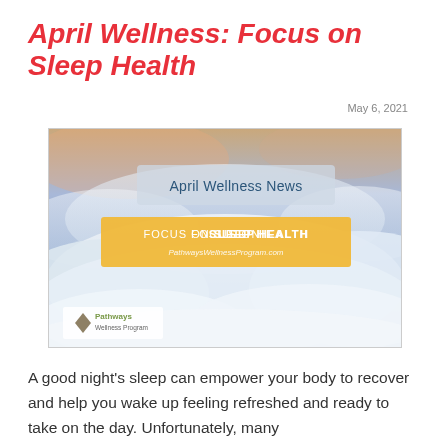April Wellness: Focus on Sleep Health
May 6, 2021
[Figure (illustration): Promotional image for April Wellness News featuring clouds and sky background with text 'April Wellness News', 'FOCUS ON SLEEP HEALTH', 'PathwaysWellnessProgram.com', and Pathways Wellness Program logo.]
A good night’s sleep can empower your body to recover and help you wake up feeling refreshed and ready to take on the day. Unfortunately, many